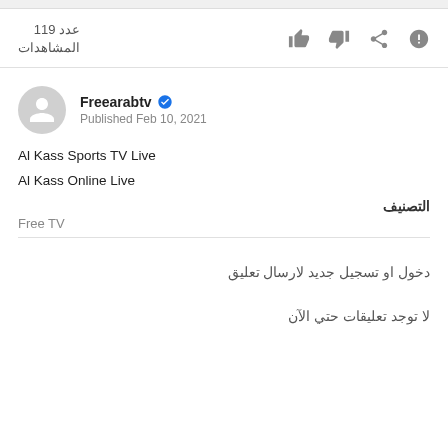عدد 119 المشاهدات
Freearabtv ✓
Published Feb 10, 2021
Al Kass Sports TV Live
Al Kass Online Live
التصنيف
Free TV
دخول او تسجيل جديد لارسال تعليق
لا توجد تعليقات حتي الآن